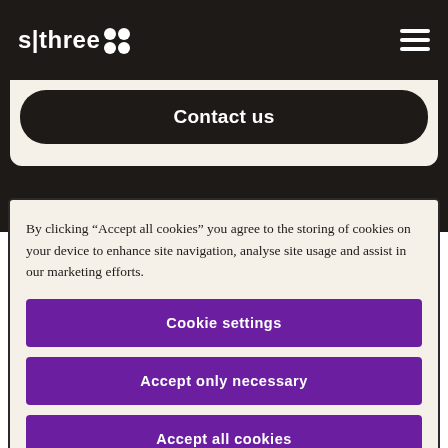s|three
Contact us
By clicking “Accept all cookies” you agree to the storing of cookies on your device to enhance site navigation, analyse site usage and assist in our marketing efforts.
Cookie settings
Accept only necessary
Accept all cookies